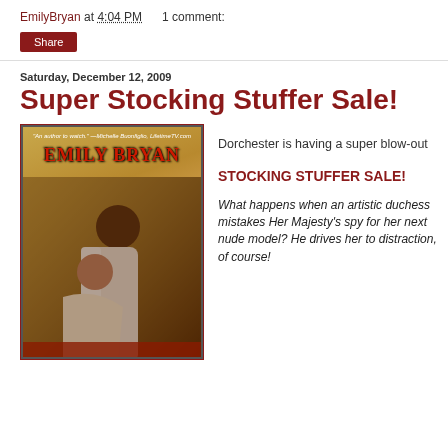EmilyBryan at 4:04 PM    1 comment:
Share
Saturday, December 12, 2009
Super Stocking Stuffer Sale!
[Figure (photo): Book cover for Emily Bryan novel showing a romantic couple embracing, with Emily Bryan's name in large red letters and a quote at the top. Background is golden/warm toned.]
Dorchester is having a super blow-out STOCKING STUFFER SALE!

What happens when an artistic duchess mistakes Her Majesty's spy for her next nude model? He drives her to distraction, of course!